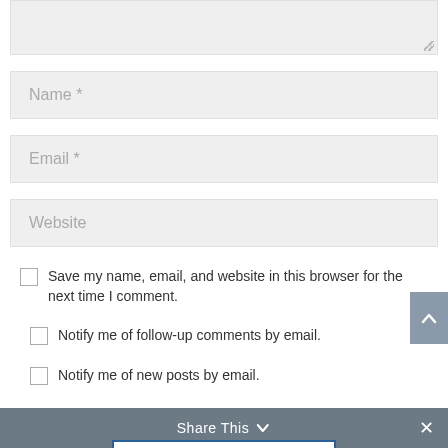[Figure (screenshot): Textarea input field stub (top portion, cropped), showing a light gray background with a resize handle at bottom-right corner.]
Name *
Email *
Website
Save my name, email, and website in this browser for the next time I comment.
Notify me of follow-up comments by email.
Notify me of new posts by email.
Share This
Share This  ✕